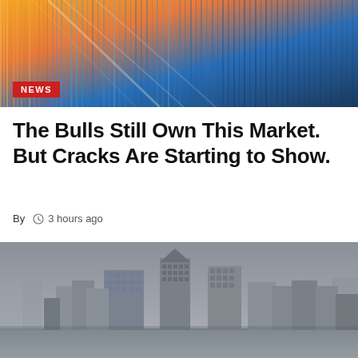[Figure (photo): Abstract colorful light rays or fiber optic strands — orange, yellow, blue — suggesting financial data or stock market activity]
NEWS
The Bulls Still Own This Market. But Cracks Are Starting to Show.
By  © 3 hours ago
[Figure (photo): Aerial city skyline photograph showing Canary Wharf or similar financial district with tall skyscrapers under a gray overcast sky]